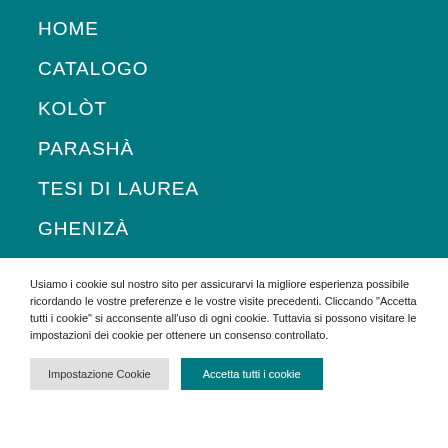HOME
CATALOGO
KOLÒT
PARASHÀ
TESI DI LAUREA
GHENIZÀ
Usiamo i cookie sul nostro sito per assicurarvi la migliore esperienza possibile ricordando le vostre preferenze e le vostre visite precedenti. Cliccando "Accetta tutti i cookie" si acconsente all'uso di ogni cookie. Tuttavia si possono visitare le impostazioni dei cookie per ottenere un consenso controllato.
Impostazione Cookie | Accetta tutti i cookie